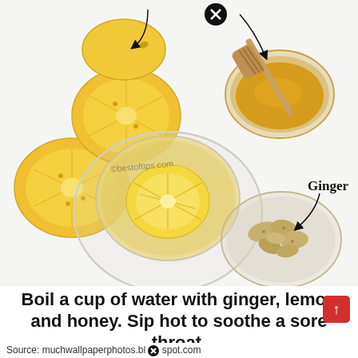[Figure (photo): Top-down photo of a glass cup of lemon-ginger-honey drink with a lemon slice inside, surrounded by halved lemons on the left, a small bowl of honey with a honey dipper on the upper right, and a small bowl of sliced ginger pieces on the lower right. Arrows and labels indicate 'Ginger'. Watermark reads '@bestoftips.com'. A black circle with X icon appears near the honey bowl and label areas.]
Boil a cup of water with ginger, lemon and honey. Sip hot to soothe a sore throat.
Source: muchwallpaperphotos.blogspot.com